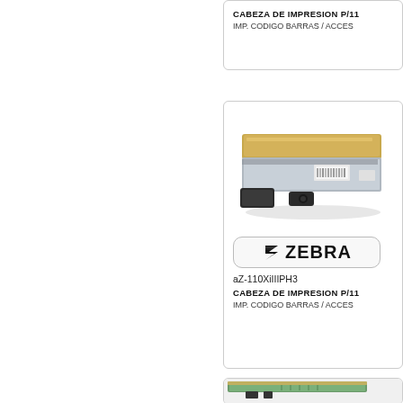[Figure (other): Partial product card at top showing CABEZA DE IMPRESION P/11... and IMP. CODIGO BARRAS / ACCES...]
CABEZA DE IMPRESION P/11...
IMP. CODIGO BARRAS / ACCES...
[Figure (photo): Zebra print head hardware component photo - metallic print head with gold and dark components]
[Figure (logo): Zebra brand logo badge with zebra stripe icon and ZEBRA text]
aZ-110XiIIIPH3
CABEZA DE IMPRESION P/11...
IMP. CODIGO BARRAS / ACCES...
[Figure (photo): Partial view of another Zebra print head hardware component at bottom of page]